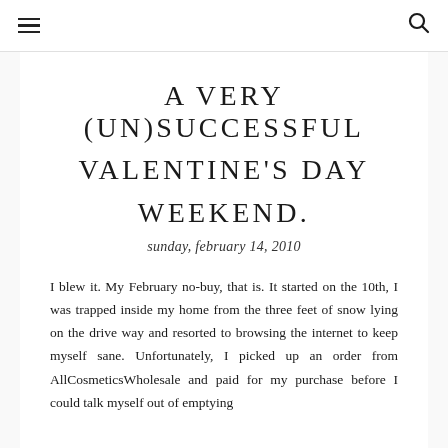≡  🔍
A VERY (UN)SUCCESSFUL VALENTINE'S DAY WEEKEND.
sunday, february 14, 2010
I blew it. My February no-buy, that is. It started on the 10th, I was trapped inside my home from the three feet of snow lying on the drive way and resorted to browsing the internet to keep myself sane. Unfortunately, I picked up an order from AllCosmeticsWholesale and paid for my purchase before I could talk myself out of emptying